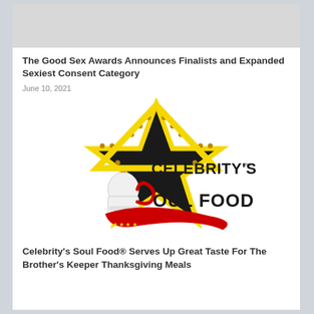[Figure (photo): Gray banner placeholder image at top of article card]
The Good Sex Awards Announces Finalists and Expanded Sexiest Consent Category
June 10, 2021
[Figure (logo): Celebrity's Soul Food logo — a black and yellow marquee star with a chef's hat and red swoosh ribbon, text reads CELEBRITY'S SOUL FOOD with trademark symbol]
Celebrity's Soul Food® Serves Up Great Taste For The Brother's Keeper Thanksgiving Meals